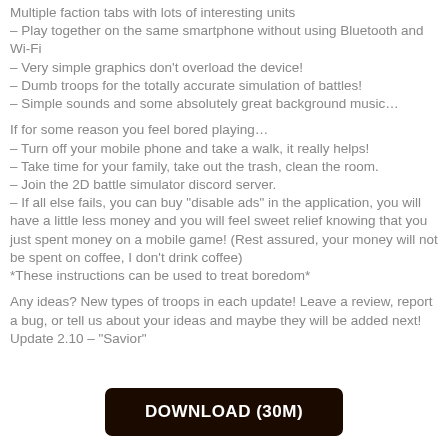Multiple faction tabs with lots of interesting units
– Play together on the same smartphone without using Bluetooth and Wi-Fi
– Very simple graphics don't overload the device!
– Dumb troops for the totally accurate simulation of battles!
– Simple sounds and some absolutely great background music…
If for some reason you feel bored playing…
– Turn off your mobile phone and take a walk, it really helps!
– Take time for your family, take out the trash, clean the room.
– Join the 2D battle simulator discord server.
– If all else fails, you can buy "disable ads" in the application, you will have a little less money and you will feel sweet relief knowing that you just spent money on a mobile game! (Rest assured, your money will not be spent on coffee, I don't drink coffee)
*These instructions can be used to treat boredom*
Any ideas? New types of troops in each update! Leave a review, report a bug, or tell us about your ideas and maybe they will be added next!
Update 2.10 – "Savior"
DOWNLOAD (30M)